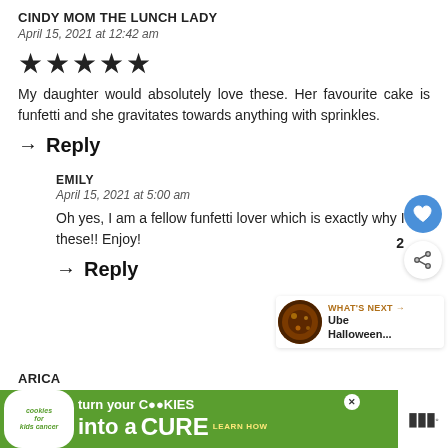CINDY MOM THE LUNCH LADY
April 15, 2021 at 12:42 am
[Figure (other): Five filled star rating icons]
My daughter would absolutely love these. Her favourite cake is funfetti and she gravitates towards anything with sprinkles.
→ Reply
EMILY
April 15, 2021 at 5:00 am
Oh yes, I am a fellow funfetti lover which is exactly why I [made] these!! Enjoy!
→ Reply
ARICA
[Figure (other): Advertisement banner: cookies for kids cancer - turn your cookies into a cure learn how]
[Figure (other): What's Next widget showing Ube Halloween... article thumbnail]
[Figure (other): Like/heart button (blue circle with heart icon) and share button]
2